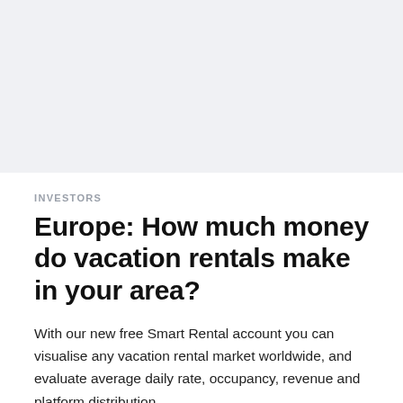[Figure (other): Light gray background image placeholder area at the top of the page]
INVESTORS
Europe: How much money do vacation rentals make in your area?
With our new free Smart Rental account you can visualise any vacation rental market worldwide, and evaluate average daily rate, occupancy, revenue and platform distribution.
Let's take a look at the big short term rental hitters